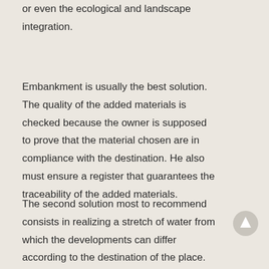or even the ecological and landscape integration.
Embankment is usually the best solution. The quality of the added materials is checked because the owner is supposed to prove that the material chosen are in compliance with the destination. He also must ensure a register that guarantees the traceability of the added materials.
The second solution most to recommend consists in realizing a stretch of water from which the developments can differ according to the destination of the place. Plan of the outline of one or several ponds,